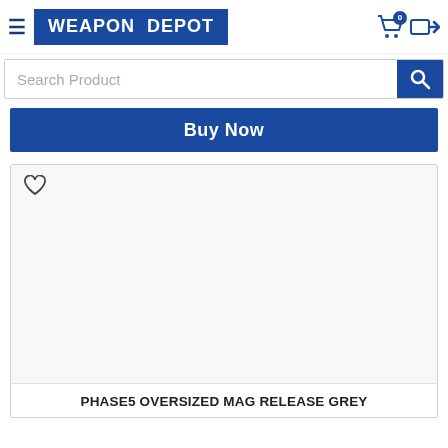WEAPON DEPOT
Search Product
Buy Now
[Figure (other): Blank product image area with a heart/wishlist icon in the top-left corner]
PHASE5 OVERSIZED MAG RELEASE GREY